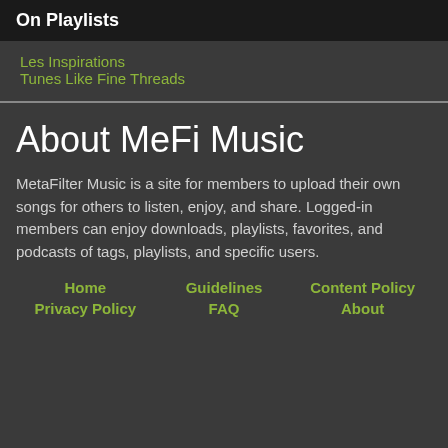On Playlists
Les Inspirations
Tunes Like Fine Threads
About MeFi Music
MetaFilter Music is a site for members to upload their own songs for others to listen, enjoy, and share. Logged-in members can enjoy downloads, playlists, favorites, and podcasts of tags, playlists, and specific users.
Home  Guidelines  Content Policy  Privacy Policy  FAQ  About